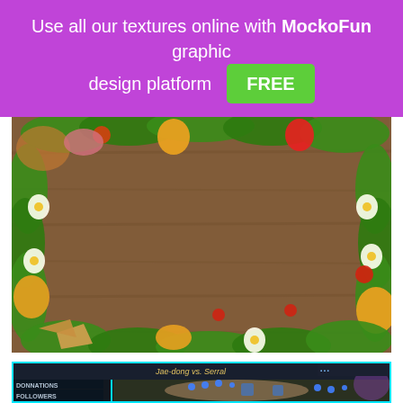Use all our textures online with MockoFun graphic design platform FREE
[Figure (photo): A wooden table texture surrounded by a border/frame of food items including vegetables, eggs, peppers, lettuce, tomatoes, and various other ingredients arranged in a wreath-like pattern around the edges, leaving the center clear.]
[Figure (screenshot): A screenshot of a StarCraft II game stream showing Jae-dong vs. Serral. The interface shows DONATIONS and FOLLOWERS panels on the left side with a cyan/teal border. The game map shows various units and structures.]